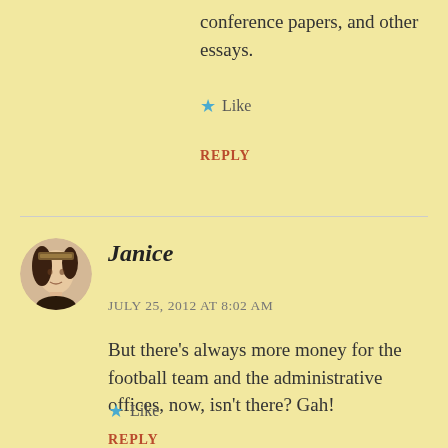conference papers, and other essays.
★ Like
REPLY
[Figure (illustration): Circular avatar image of a woman in historical portrait style, dark hair, wearing a headdress]
Janice
JULY 25, 2012 AT 8:02 AM
But there’s always more money for the football team and the administrative offices, now, isn’t there? Gah!
★ Like
REPLY